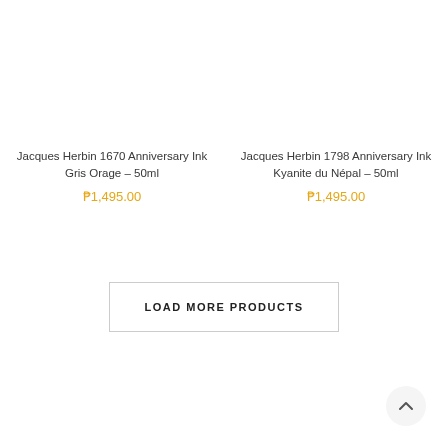Jacques Herbin 1670 Anniversary Ink Gris Orage – 50ml
₱1,495.00
Jacques Herbin 1798 Anniversary Ink Kyanite du Népal – 50ml
₱1,495.00
LOAD MORE PRODUCTS